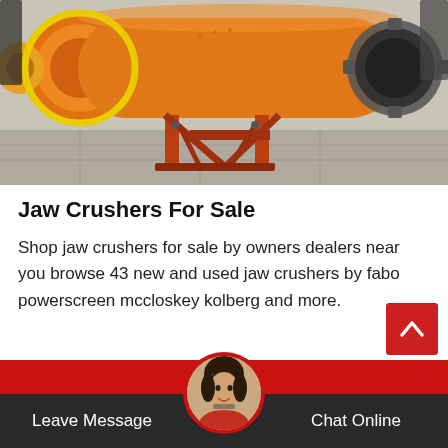[Figure (photo): Large orange industrial ball mill / jaw crusher machinery on a concrete surface, photographed outdoors.]
Jaw Crushers For Sale
Shop jaw crushers for sale by owners dealers near you browse 43 new and used jaw crushers by fabo powerscreen mccloskey kolberg and more.
[Figure (photo): Customer service representative avatar photo in circular frame at the bottom footer.]
Leave Message   Chat Online